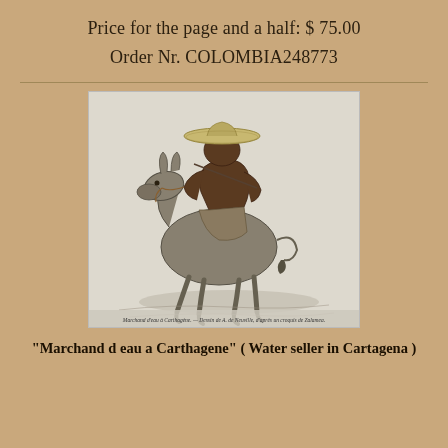Price for the page and a half: $ 75.00
Order Nr. COLOMBIA248773
[Figure (illustration): 19th century engraving of a man riding a donkey, wearing a wide-brimmed hat and minimal clothing, with a caption in French at the bottom reading 'Marchand d'eau a Carthagene' with attribution text.]
"Marchand d eau a Carthagene" ( Water seller in Cartagena )